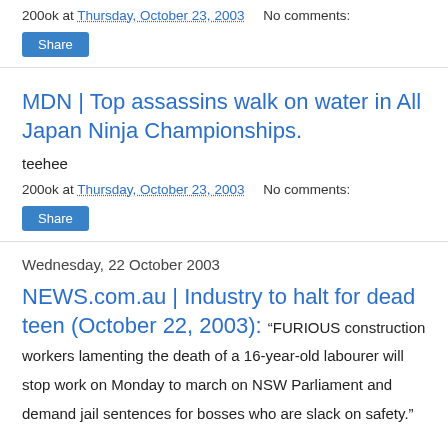200ok at Thursday, October 23, 2003   No comments:
[Figure (screenshot): Share button (blue)]
MDN | Top assassins walk on water in All Japan Ninja Championships.
teehee
200ok at Thursday, October 23, 2003   No comments:
[Figure (screenshot): Share button (blue)]
Wednesday, 22 October 2003
NEWS.com.au | Industry to halt for dead teen (October 22, 2003):
“FURIOUS construction workers lamenting the death of a 16-year-old labourer will stop work on Monday to march on NSW Parliament and demand jail sentences for bosses who are slack on safety.”